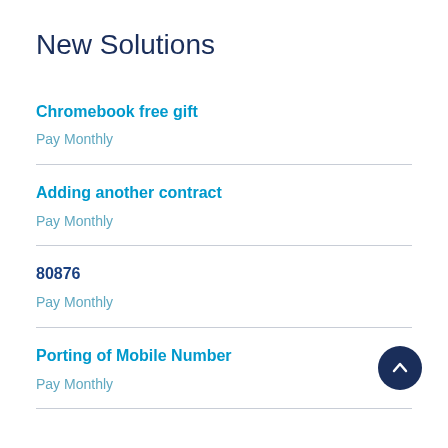New Solutions
Chromebook free gift
Pay Monthly
Adding another contract
Pay Monthly
80876
Pay Monthly
Porting of Mobile Number
Pay Monthly